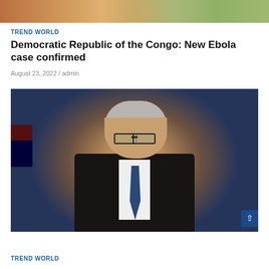[Figure (photo): Top partial image strip showing outdoor scene]
TREND WORLD
Democratic Republic of the Congo: New Ebola case confirmed
August 23, 2022 / admin
[Figure (photo): Photo of a middle-aged man with grey hair, black-rimmed glasses, wearing a black suit with white shirt and blue tie, in front of a dark blue background with an Australian flag visible]
TREND WORLD